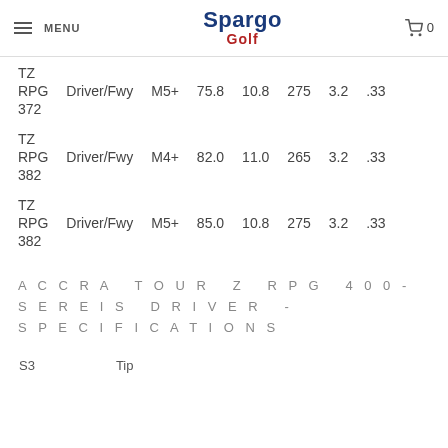MENU | Spargo Golf | Cart 0
|  |  |  |  |  |  |  |  |
| --- | --- | --- | --- | --- | --- | --- | --- |
| TZ |  |  |  |  |  |  |  |
| RPG | Driver/Fwy | M5+ | 75.8 | 10.8 | 275 | 3.2 | .33 |
| 372 |  |  |  |  |  |  |  |
| TZ |  |  |  |  |  |  |  |
| RPG | Driver/Fwy | M4+ | 82.0 | 11.0 | 265 | 3.2 | .33 |
| 382 |  |  |  |  |  |  |  |
| TZ |  |  |  |  |  |  |  |
| RPG | Driver/Fwy | M5+ | 85.0 | 10.8 | 275 | 3.2 | .33 |
| 382 |  |  |  |  |  |  |  |
ACCRA TOUR Z RPG 400-SEREIS DRIVER - SPECIFICATIONS
| S3 | Tip |
| --- | --- |